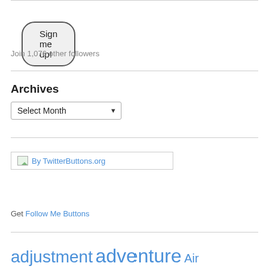[Figure (other): Sign me up! button — rounded pill-shaped button with dark border and light gray background]
Join 1,076 other followers
Archives
[Figure (other): Select Month dropdown widget]
[Figure (other): Twitter button image with broken image icon and text: By TwitterButtons.org]
Get Follow Me Buttons
adjustment adventure Air Mekong airplanes alternative